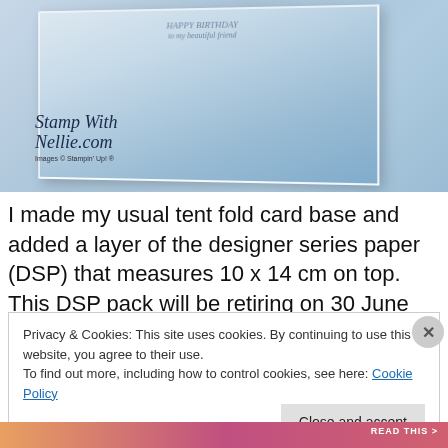[Figure (photo): Photo of a blue textured tent fold birthday card standing up, with 'HAPPY BIRTHDAY to my beautiful friend' text on the card. Watermark reads 'Stamp With Nellie.com' and 'Images © Stampin' Up! ®']
I made my usual tent fold card base and added a layer of the designer series paper (DSP) that measures 10 x 14 cm on top. This DSP pack will be retiring on 30 June 2021 so I'm determined to
Privacy & Cookies: This site uses cookies. By continuing to use this website, you agree to their use.
To find out more, including how to control cookies, see here: Cookie Policy
Close and accept